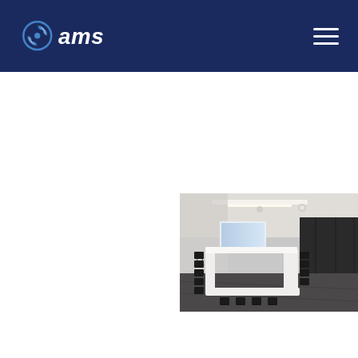ams logo and navigation header
[Figure (photo): Modern conference room with long U-shaped white table, black chairs, projection screen on wall, dark flooring, and recessed ceiling lighting]